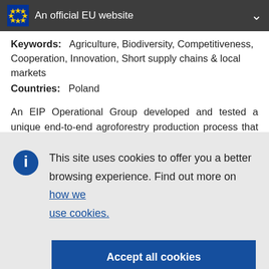An official EU website
Keywords: Agriculture, Biodiversity, Competitiveness, Cooperation, Innovation, Short supply chains & local markets
Countries: Poland
An EIP Operational Group developed and tested a unique end-to-end agroforestry production process that is sustainable, profitable for the farm and the processing company, and which benefits consumers through products made in a way that supports the
This site uses cookies to offer you a better browsing experience. Find out more on how we use cookies.
Accept all cookies
Accept only essential cookies